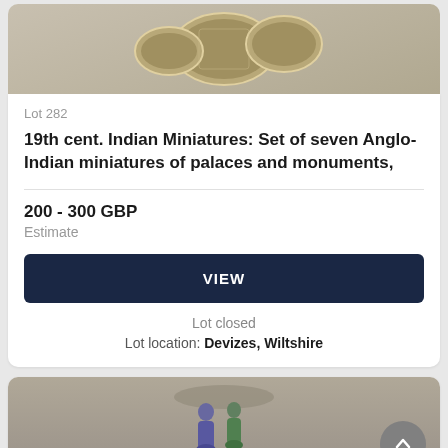[Figure (photo): Partial view of oval Indian miniature paintings on a surface]
Lot 282
19th cent. Indian Miniatures: Set of seven Anglo-Indian miniatures of palaces and monuments,
200 - 300 GBP
Estimate
VIEW
Lot closed
Lot location: Devizes, Wiltshire
[Figure (photo): Partial view of ceramic figurines at the bottom of the page]